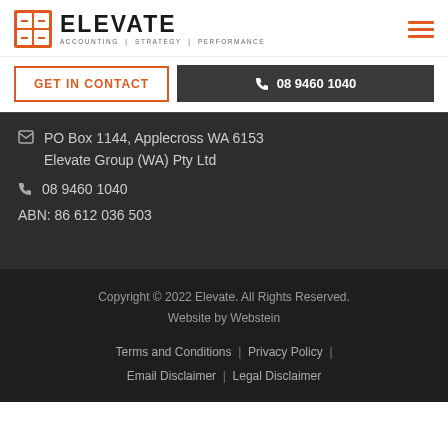[Figure (logo): Elevate Accounting Strategy Performance logo with orange grid icon]
GET IN CONTACT
08 9460 1040
PO Box 1144, Applecross WA 6153
Elevate Group (WA) Pty Ltd
08 9460 1040
ABN: 86 612 036 503
Copyright © 2022 Elevate. All Rights Reserved.
Website by Webstein
Terms and Conditions | Privacy Policy | Email Disclaimer | Legal Disclaimer